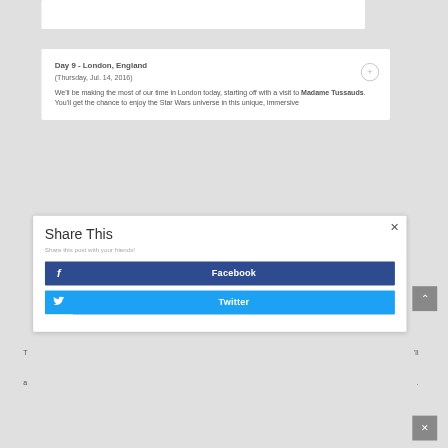Day 9 - London, England
(Thursday, Jul. 14, 2016)
We'll be making the most of our time in London today, starting off with a visit to Madame Tussauds. You'll get the chance to enjoy the Star Wars universe in this unique, immersive
Share This
Share this post with your friends!
Facebook
Twitter